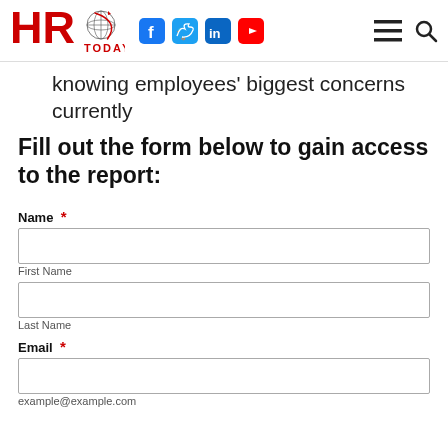HRO Today — navigation bar with social icons (Facebook, Twitter, LinkedIn, YouTube), hamburger menu, and search
knowing employees' biggest concerns currently
Fill out the form below to gain access to the report:
Name *
First Name
Last Name
Email *
example@example.com